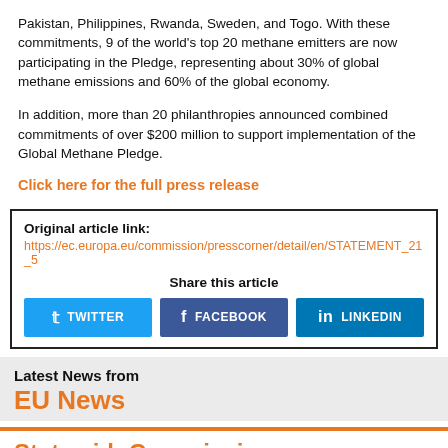Pakistan, Philippines, Rwanda, Sweden, and Togo. With these commitments, 9 of the world's top 20 methane emitters are now participating in the Pledge, representing about 30% of global methane emissions and 60% of the global economy.
In addition, more than 20 philanthropies announced combined commitments of over $200 million to support implementation of the Global Methane Pledge.
Click here for the full press release
Original article link:
https://ec.europa.eu/commission/presscorner/detail/en/STATEMENT_21_5
Share this article
TWITTER
FACEBOOK
LINKEDIN
Latest News from
EU News
State aid: Commission approves Italian market conform scheme to